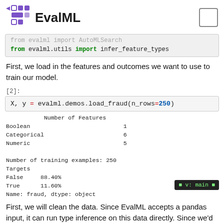EvalML
[Figure (screenshot): Code block showing: from evalml import AutoMLSearch (faded) and from evalml.utils import infer_feature_types]
First, we load in the features and outcomes we want to use to train our model.
[2]:
[Figure (screenshot): Code block: X, y = evalml.demos.load_fraud(n_rows=250)]
Number of Features
Boolean                           1
Categorical                       6
Numeric                           5

Number of training examples: 250
Targets
False     88.40%
True      11.60%
Name: fraud, dtype: object
First, we will clean the data. Since EvalML accepts a pandas input, it can run type inference on this data directly. Since we'd like to change the types inferred by EvalML, we can use the